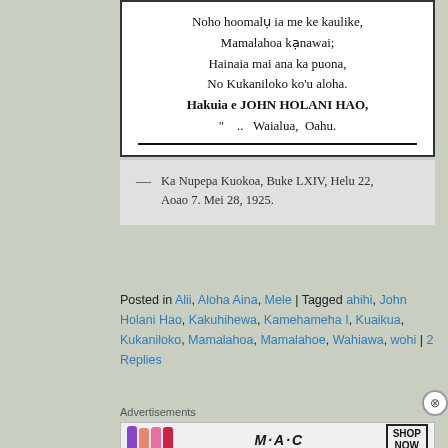[Figure (other): Scanned newspaper excerpt in a white bordered box showing Hawaiian language poem lines ending with a horizontal rule]
— Ka Nupepa Kuokoa, Buke LXIV, Helu 22, Aoao 7. Mei 28, 1925.
Posted in Alii, Aloha Aina, Mele | Tagged ahihi, John Holani Hao, Kakuhihewa, Kamehameha I, Kuaikua, Kukaniloko, Mamalahoa, Mamalahoe, Wahiawa, wohi | 2 Replies
Advertisements
[Figure (photo): MAC cosmetics advertisement showing lipsticks and the MAC logo with a SHOP NOW button]